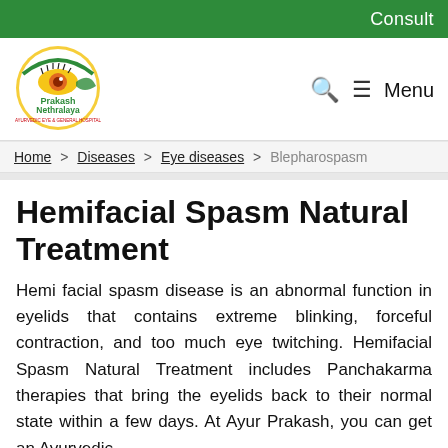Consult
[Figure (logo): Prakash Nethralaya Ayurvedic Eye & General Hospital circular logo with eye graphic in gold/green colors]
🔍 ☰ Menu
Home > Diseases > Eye diseases > Blepharospasm
Hemifacial Spasm Natural Treatment
Hemi facial spasm disease is an abnormal function in eyelids that contains extreme blinking, forceful contraction, and too much eye twitching. Hemifacial Spasm Natural Treatment includes Panchakarma therapies that bring the eyelids back to their normal state within a few days. At Ayur Prakash, you can get an Ayurvedic